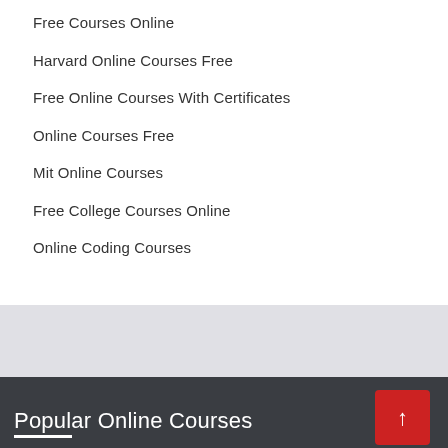Free Courses Online
Harvard Online Courses Free
Free Online Courses With Certificates
Online Courses Free
Mit Online Courses
Free College Courses Online
Online Coding Courses
Popular Online Courses